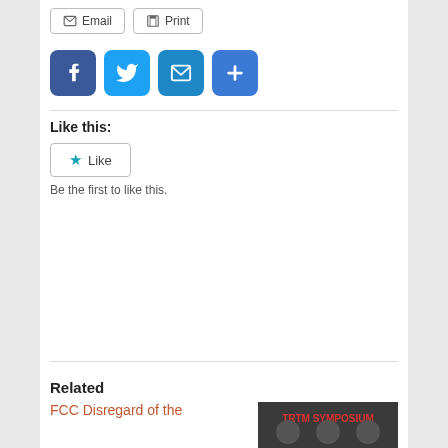[Figure (other): Email and Print buttons]
[Figure (other): Social sharing icons: Facebook, Twitter, Email, Add/More]
Like this:
[Figure (other): Like button with star icon]
Be the first to like this.
Related
FCC Disregard of the
[Figure (other): Thumbnail image for related article showing TRTM SYMPOSIUM text]